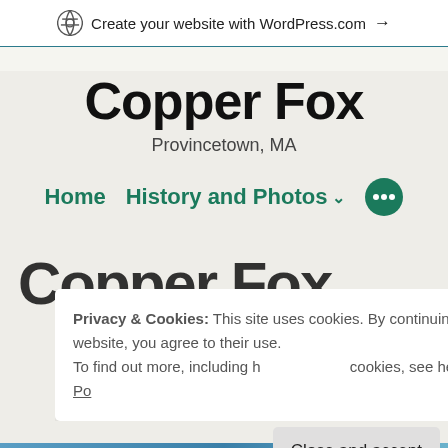Create your website with WordPress.com →
Copper Fox
Provincetown, MA
Home   History and Photos ˅   •••
Copper Fox
Privacy & Cookies: This site uses cookies. By continuing to use this website, you agree to their use.
To find out more, including how to control cookies, see here: Cookie Policy
Close and accept